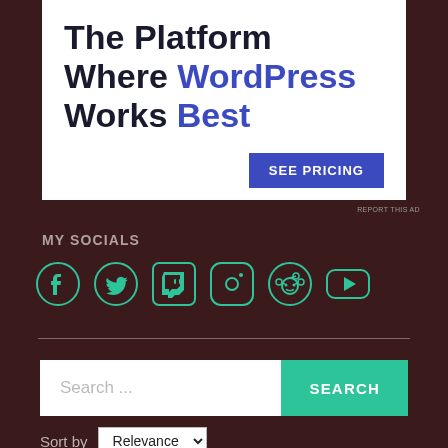[Figure (screenshot): Advertisement banner: 'The Platform Where WordPress Works Best' with a blue 'SEE PRICING' button on white background]
REPORT THIS AD
MY SOCIALS
[Figure (illustration): Social media icons row: Facebook, Twitter, Twitch, Instagram, Reddit, YouTube — all in teal/green color]
Search ...
SEARCH
Sort by Relevance